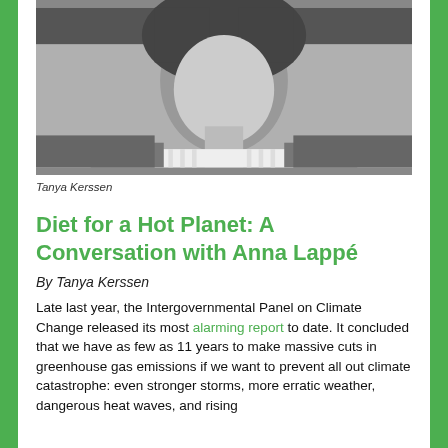[Figure (photo): Black and white portrait photo of Tanya Kerssen, a woman with dark wavy hair, wearing a striped shirt and jacket.]
Tanya Kerssen
Diet for a Hot Planet: A Conversation with Anna Lappé
By Tanya Kerssen
Late last year, the Intergovernmental Panel on Climate Change released its most alarming report to date. It concluded that we have as few as 11 years to make massive cuts in greenhouse gas emissions if we want to prevent all out climate catastrophe: even stronger storms, more erratic weather, dangerous heat waves, and rising